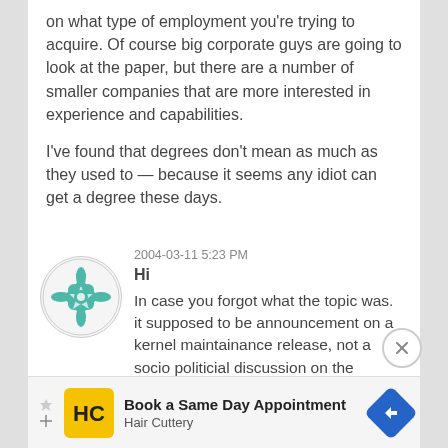on what type of employment you're trying to acquire. Of course big corporate guys are going to look at the paper, but there are a number of smaller companies that are more interested in experience and capabilities.
I've found that degrees don't mean as much as they used to — because it seems any idiot can get a degree these days.
2004-03-11 5:23 PM
Hi
In case you forgot what the topic was. it supposed to be announcement on a kernel maintainance release, not a socio politicial discussion on the effectiveness of a degree :o)
regards
[Figure (advertisement): Advertisement banner for Hair Cuttery: Book a Same Day Appointment]